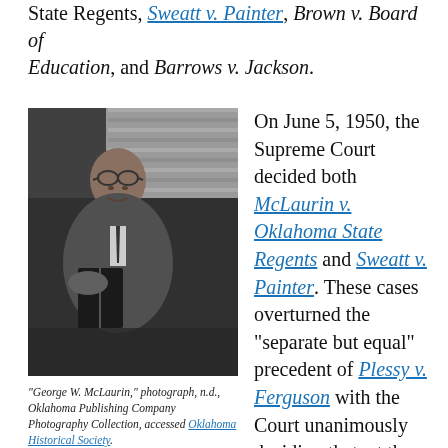State Regents, Sweatt v. Painter, Brown v. Board of Education, and Barrows v. Jackson.
[Figure (photo): Black and white photograph of George W. McLaurin, an elderly African American man wearing glasses and a suit, holding a book, seated near window blinds.]
"George W. McLaurin," photograph, n.d., Oklahoma Publishing Company Photography Collection, accessed Oklahoma Historical Society.
On June 5, 1950, the Supreme Court decided both McLaurin v. Oklahoma State Regents and Sweatt v. Painter. These cases overturned the “separate but equal” precedent of Plessy v. Ferguson with the Court unanimously deciding that, at the